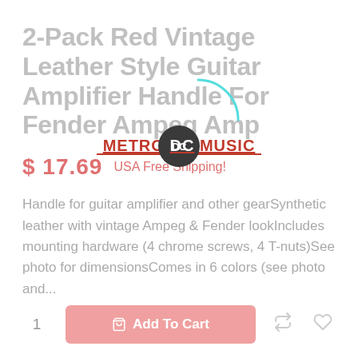[Figure (logo): Metro DC Music logo with orange/red text and dark circle containing 'DC' in white, with red underline]
2-Pack Red Vintage Leather Style Guitar Amplifier Handle For Fender Ampeg Amp
$ 17.69   USA Free Shipping!
Handle for guitar amplifier and other gearSynthetic leather with vintage Ampeg & Fender lookIncludes mounting hardware (4 chrome screws, 4 T-nuts)See photo for dimensionsComes in 6 colors (see photo and...
1   Add To Cart